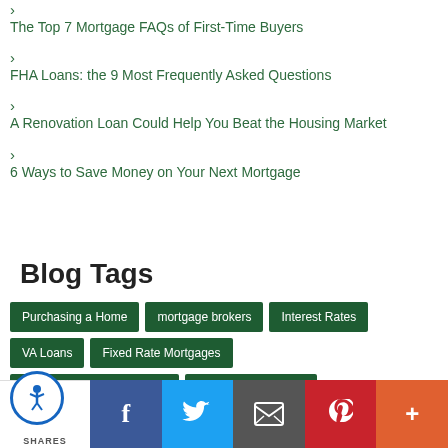> The Top 7 Mortgage FAQs of First-Time Buyers
> FHA Loans: the 9 Most Frequently Asked Questions
> A Renovation Loan Could Help You Beat the Housing Market
> 6 Ways to Save Money on Your Next Mortgage
Blog Tags
Purchasing a Home | mortgage brokers | Interest Rates | VA Loans | Fixed Rate Mortgages | Adjustable Rate Mortgages | Refinancing a Home | First-time Homebuyers | Conventional Loans
SHARES | Facebook | Twitter | Email | Pinterest | More